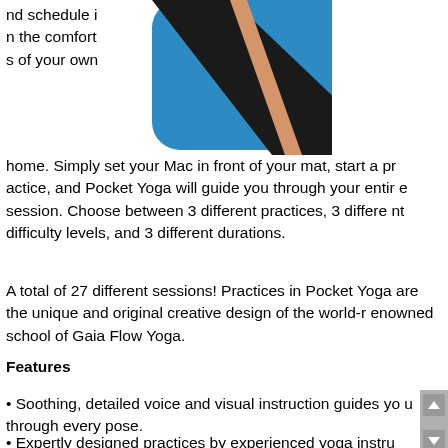nd schedule in the comforts of your own home. Simply set your Mac in front of your mat, start a practice, and Pocket Yoga will guide you through your entire session. Choose between 3 different practices, 3 different difficulty levels, and 3 different durations.
[Figure (logo): Pocket Yoga app icon — rounded square with blue, dark gray/black, and peach/orange geometric shapes]
A total of 27 different sessions! Practices in Pocket Yoga are the unique and original creative design of the world-renowned school of Gaia Flow Yoga.
Features
• Soothing, detailed voice and visual instruction guides you through every pose.
• Expertly designed practices by experienced yoga instru